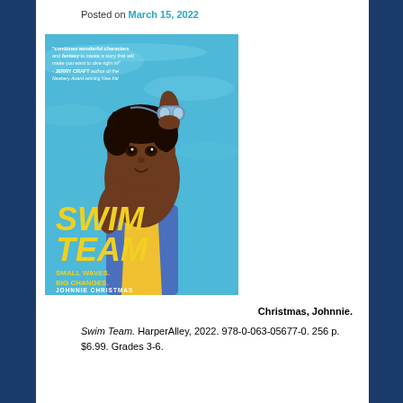Posted on March 15, 2022
[Figure (illustration): Book cover of 'Swim Team' by Johnnie Christmas. Shows a young Black girl in a blue swimsuit holding swimming goggles up to her forehead, set against a blue wavy water background. Title reads 'SWIM TEAM' in large yellow letters, subtitle 'SMALL WAVES. BIG CHANGES.' Author name 'JOHNNIE CHRISTMAS' at bottom. A blurb at top mentions wonderful characters and fantasy.]
Christmas, Johnnie.
Swim Team. HarperAlley, 2022. 978-0-063-05677-0. 256 p. $6.99. Grades 3-6.